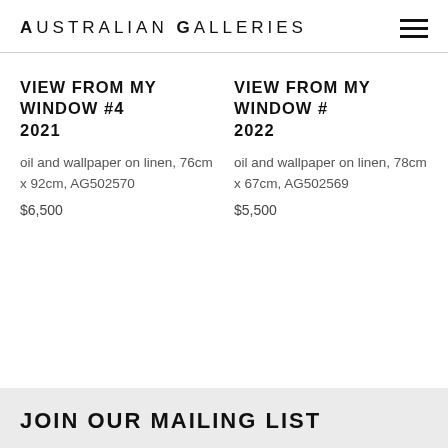Australian Galleries
VIEW FROM MY WINDOW #4
2021
oil and wallpaper on linen, 76cm x 92cm, AG502570
$6,500
VIEW FROM MY WINDOW #
2022
oil and wallpaper on linen, 78cm x 67cm, AG502569
$5,500
JOIN OUR MAILING LIST